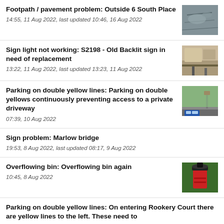Footpath / pavement problem: Outside 6 South Place
14:55, 11 Aug 2022, last updated 10:46, 16 Aug 2022
Sign light not working: S2198 - Old Backlit sign in need of replacement
13:22, 11 Aug 2022, last updated 13:23, 11 Aug 2022
Parking on double yellow lines: Parking on double yellows continuously preventing access to a private driveway
07:39, 10 Aug 2022
Sign problem: Marlow bridge
19:53, 8 Aug 2022, last updated 08:17, 9 Aug 2022
Overflowing bin: Overflowing bin again
10:45, 8 Aug 2022
Parking on double yellow lines: On entering Rookery Court there are yellow lines to the left. These need to